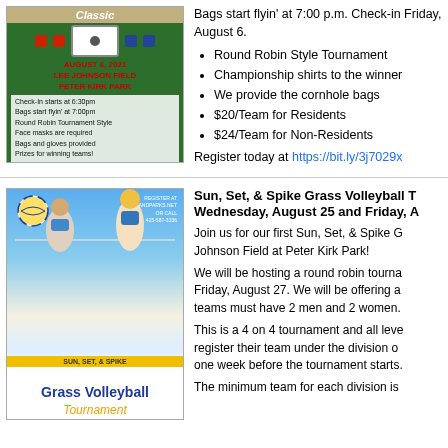[Figure (photo): Cornhole Classic event flyer with August 6, 2021 date, Lee Johnson Field, Peter Kirk Park, check-in at 6:30pm, bags start at 7:00pm, round robin tournament style, face masks required, bags and gloves provided, prizes for winning teams.]
Bags start flyin' at 7:00 p.m. Check-in Friday, August 6.
Round Robin Style Tournament
Championship shirts to the winner
We provide the cornhole bags
$20/Team for Residents
$24/Team for Non-Residents
Register today at https://bit.ly/3j7029x
Sun, Set, & Spike Grass Volleyball Tournament Wednesday, August 25 and Friday, August 27
[Figure (photo): Sun, Set, & Spike Grass Volleyball Tournament promotional image with volleyball player and grass volleyball text.]
Join us for our first Sun, Set, & Spike Grass Volleyball tournament at Lee Johnson Field at Peter Kirk Park!
We will be hosting a round robin tournament on Wednesday, August 25 and Friday, August 27. We will be offering a coed division, teams must have 2 men and 2 women.
This is a 4 on 4 tournament and all levels of play are welcome. Teams will register their team under the division of their choice. Registration closes one week before the tournament starts.
The minimum team for each division is...